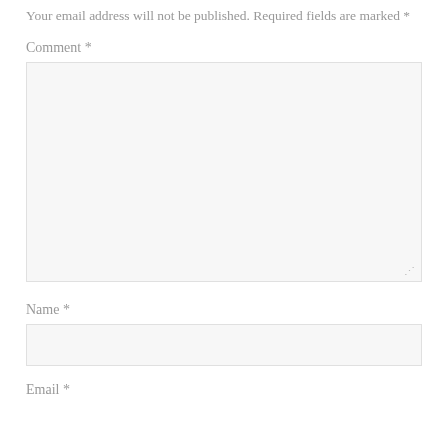Your email address will not be published. Required fields are marked *
Comment *
[Figure (screenshot): A large empty comment textarea input box with a resize handle in the bottom-right corner, light gray background]
Name *
[Figure (screenshot): A single-line name input text field, light gray background]
Email *